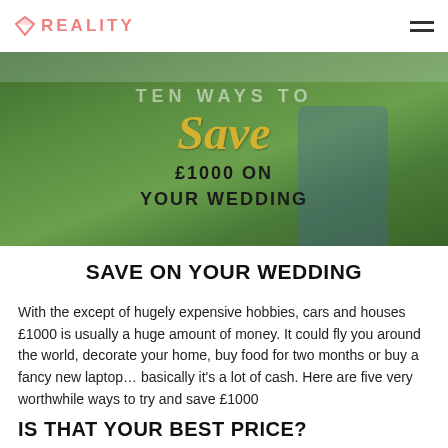REALITY
[Figure (photo): Wedding photo hero image with a groom in a blue suit with arms outstretched on a grass lawn, overlaid with text: 'Save £1000 ON YOUR WEDDING']
SAVE ON YOUR WEDDING
With the except of hugely expensive hobbies, cars and houses £1000 is usually a huge amount of money. It could fly you around the world, decorate your home, buy food for two months or buy a fancy new laptop… basically it's a lot of cash. Here are five very worthwhile ways to try and save £1000
IS THAT YOUR BEST PRICE?